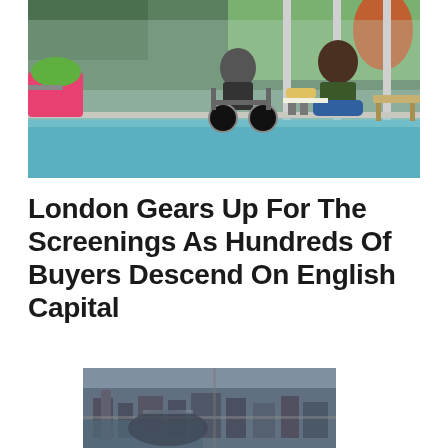[Figure (photo): Two people near an indoor swimming pool — one person in a wheelchair, another seated on a lounge chair, surrounded by tropical plants and large windows.]
London Gears Up For The Screenings As Hundreds Of Buyers Descend On English Capital
[Figure (photo): Aerial photograph of a dense urban area, likely London, showing buildings and rooftops from above.]